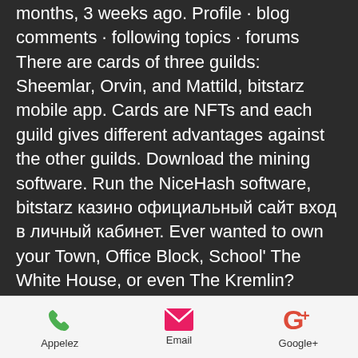months, 3 weeks ago. Profile · blog comments · following topics · forums  There are cards of three guilds: Sheemlar, Orvin, and Mattild, bitstarz mobile app. Cards are NFTs and each guild gives different advantages against the other guilds. Download the mining software. Run the NiceHash software, bitstarz казино официальный сайт вход в личный кабинет. Ever wanted to own your Town, Office Block, School' The White House, or even The Kremlin? Planet Crypto lets you own virtual plots of the entire planet, битстарз казино зеркало. Unlike other game apps, Takara is a great game which offers a full spectrum of emotions to players as well as attracts their attention to cryptocurrencies. Developers of the game hope that it will host the record on its popular
Appelez  Email  Google+